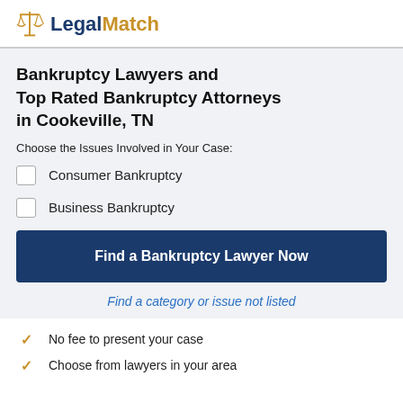[Figure (logo): LegalMatch logo with scales of justice icon and two-tone text: 'Legal' in dark navy and 'Match' in gold/amber]
Bankruptcy Lawyers and Top Rated Bankruptcy Attorneys in Cookeville, TN
Choose the Issues Involved in Your Case:
Consumer Bankruptcy
Business Bankruptcy
Find a Bankruptcy Lawyer Now
Find a category or issue not listed
No fee to present your case
Choose from lawyers in your area